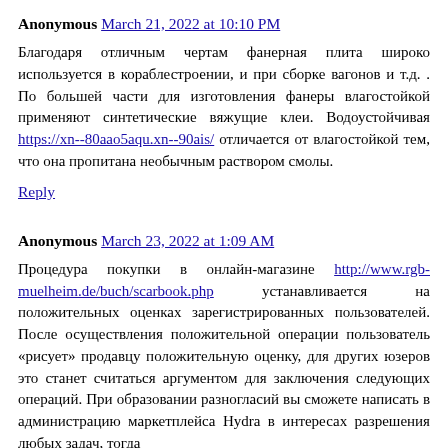Anonymous March 21, 2022 at 10:10 PM
Благодаря отличным чертам фанерная плита широко используется в кораблестроении, и при сборке вагонов и т.д. . По большей части для изготовления фанеры влагостойкой применяют синтетические вяжущие клеи. Водоустойчивая https://xn--80aao5aqu.xn--90ais/ отличается от влагостойкой тем, что она пропитана необычным раствором смолы.
Reply
Anonymous March 23, 2022 at 1:09 AM
Процедура покупки в онлайн-магазине http://www.rgb-muelheim.de/buch/scarbook.php устанавливается на положительных оценках зарегистрированных пользователей. После осуществления положительной операции пользователь «рисует» продавцу положительную оценку, для других юзеров это станет считаться аргументом для заключения следующих операций. При образовании разногласий вы сможете написать в администрацию маркетплейса Hydra в интересах разрешения любых задач, тогда